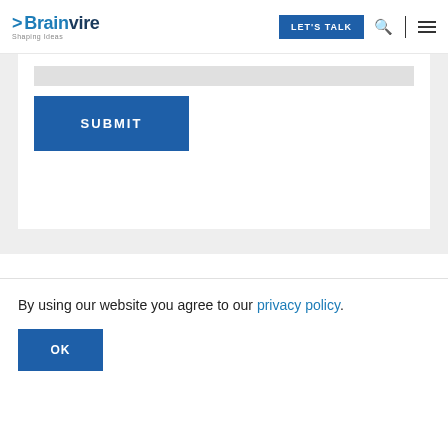Brainvire — Shaping Ideas | LET'S TALK
[Figure (screenshot): Submit button inside a white form card on a grey background]
[Figure (screenshot): Dark blue footer with five social media icon circles (Facebook, Twitter, Instagram, LinkedIn, YouTube)]
By using our website you agree to our privacy policy.
OK